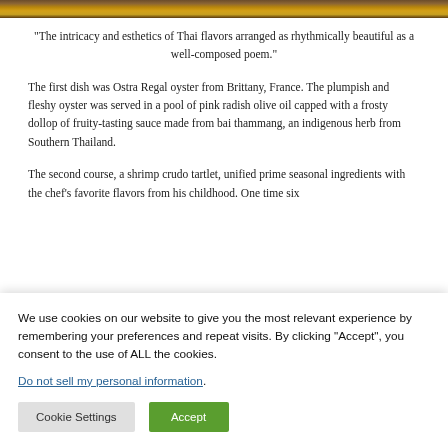[Figure (photo): Partial food photo strip at top of page, dark warm tones]
“The intricacy and esthetics of Thai flavors arranged as rhythmically beautiful as a well-composed poem.”
The first dish was Ostra Regal oyster from Brittany, France. The plumpish and fleshy oyster was served in a pool of pink radish olive oil capped with a frosty dollop of fruity-tasting sauce made from bai thammang, an indigenous herb from Southern Thailand.
The second course, a shrimp crudo tartlet, unified prime seasonal ingredients with the chef’s favorite flavors from his childhood. One time six...
We use cookies on our website to give you the most relevant experience by remembering your preferences and repeat visits. By clicking “Accept”, you consent to the use of ALL the cookies.
Do not sell my personal information.